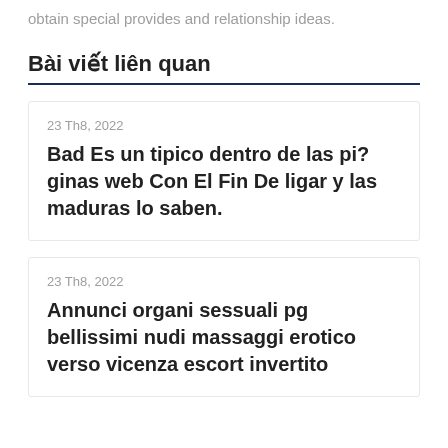obtain special provides and relationship ideas.
Bài viết liên quan
23 Th8, 2022
Bad Es un tipico dentro de las pi? ginas web Con El Fin De ligar y las maduras lo saben.
23 Th8, 2022
Annunci organi sessuali pg bellissimi nudi massaggi erotico verso vicenza escort invertito